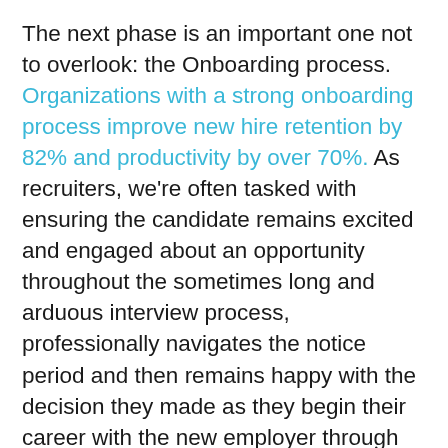The next phase is an important one not to overlook: the Onboarding process. Organizations with a strong onboarding process improve new hire retention by 82% and productivity by over 70%. As recruiters, we're often tasked with ensuring the candidate remains excited and engaged about an opportunity throughout the sometimes long and arduous interview process, professionally navigates the notice period and then remains happy with the decision they made as they begin their career with the new employer through the first year. This requires consistent communication throughout the process and we often find ourselves filling the gaps left by a busy employer who is tasked with multiple responsibilities. In my experience, the candidates who stay the longest and are the most satisfied had a positive early